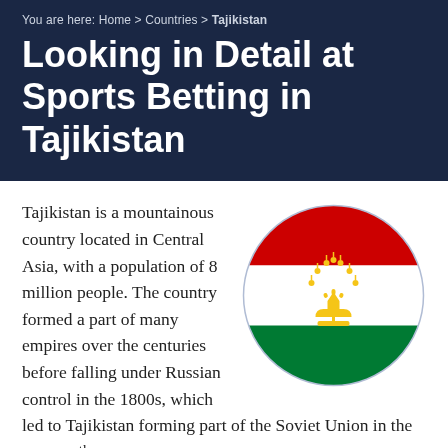You are here: Home > Countries > Tajikistan
Looking in Detail at Sports Betting in Tajikistan
[Figure (illustration): Circular flag of Tajikistan with red top stripe, white middle stripe with golden crown and arc of beads emblem, and green bottom stripe]
Tajikistan is a mountainous country located in Central Asia, with a population of 8 million people. The country formed a part of many empires over the centuries before falling under Russian control in the 1800s, which led to Tajikistan forming part of the Soviet Union in the early 20th century. Following the collapse of communism and independence a civil war broke out in the country which lasted until 1997. Although now claiming to operate under a democracy Tajikistan's